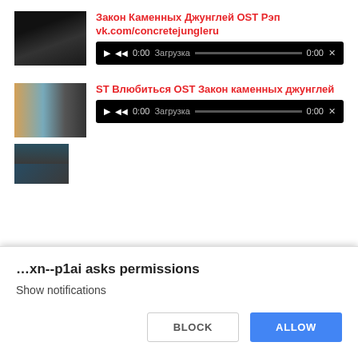[Figure (screenshot): Thumbnail image of a phone in dark setting for first media item]
Закон Каменных Джунглей OST Рэп vk.com/concretejungleru
[Figure (screenshot): Audio player UI - black bar with play/rewind buttons, time 0:00, Загрузка label, progress bar, 0:00X]
[Figure (screenshot): Thumbnail image of a woman and group scene for second media item]
ST Влюбиться OST Закон каменных джунглей
[Figure (screenshot): Audio player UI - black bar with play/rewind buttons, time 0:00, Загрузка label, progress bar, 0:00X]
[Figure (screenshot): Partial thumbnail of third media item at bottom]
…xn--p1ai asks permissions
Show notifications
BLOCK
ALLOW